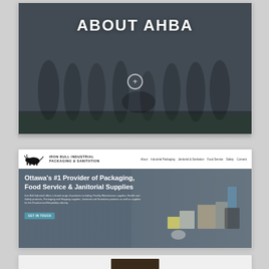[Figure (screenshot): Website screenshot showing 'ABOUT AHBA' page with a dark overlay image of a group of people at what appears to be an equestrian event. Bold white text reads 'ABOUT AHBA' with a circular plus icon below.]
[Figure (screenshot): Website screenshot of 'Iron Bull Industrial Packaging & Sanitation' company website. Navigation bar with logo and links: About, Industrial Packaging, Janitorial & Sanitation, Food Service, Safety, Connect. Hero section with text: 'Ottawa's #1 Provider of Packaging, Food Service & Janitorial Supplies'. Subtext: 'Iron Bull Industrial offers a broad range of products including: Facility Maintenance supplies, Health and Safety products, Packaging and Shipping supplies, Janitorial and Sanitation products as well as supplies for the Foodservice/Hospitality industry.' Button: 'GET IN TOUCH'.]
[Figure (screenshot): Partial screenshot of a third website, showing a light grey background with the top edge of a dark image element visible at the bottom.]